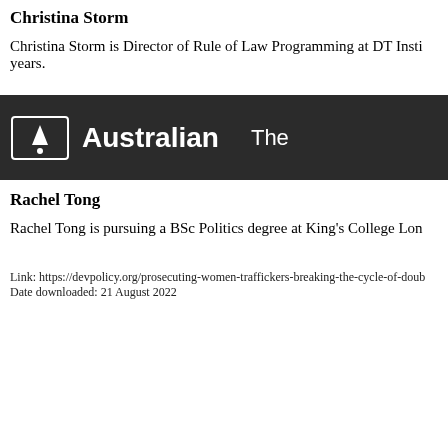Christina Storm
Christina Storm is Director of Rule of Law Programming at DT Insti years.
Steven Baker
Steven Baker is a socio-economist and Practice Leader, Economic G
Rachel Tong
Rachel Tong is pursuing a BSc Politics degree at King's College Lon
Link: https://devpolicy.org/prosecuting-women-traffickers-breaking-the-cycle-of-doub
Date downloaded: 21 August 2022
[Figure (logo): Dark banner with Australian logo and text 'Australian' and 'The']